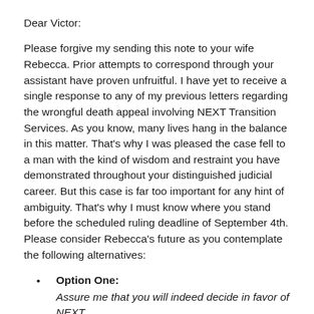Dear Victor:
Please forgive my sending this note to your wife Rebecca. Prior attempts to correspond through your assistant have proven unfruitful. I have yet to receive a single response to any of my previous letters regarding the wrongful death appeal involving NEXT Transition Services. As you know, many lives hang in the balance in this matter. That's why I was pleased the case fell to a man with the kind of wisdom and restraint you have demonstrated throughout your distinguished judicial career. But this case is far too important for any hint of ambiguity. That's why I must know where you stand before the scheduled ruling deadline of September 4th. Please consider Rebecca's future as you contemplate the following alternatives:
Option One: Assure me that you will indeed decide in favor of NEXT.
Option Two: Bid your sweet wife farewell since you will die before